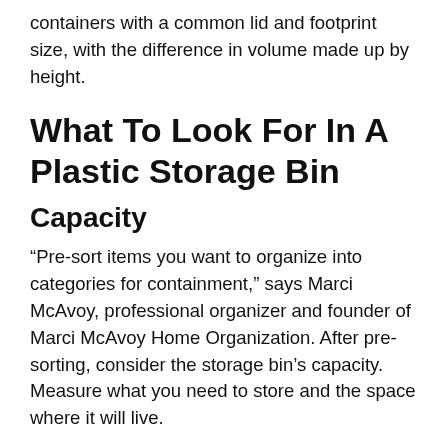containers with a common lid and footprint size, with the difference in volume made up by height.
What To Look For In A Plastic Storage Bin
Capacity
“Pre-sort items you want to organize into categories for containment,” says Marci McAvoy, professional organizer and founder of Marci McAvoy Home Organization. After pre-sorting, consider the storage bin’s capacity. Measure what you need to store and the space where it will live.
“There’s nothing worse than buying a bunch